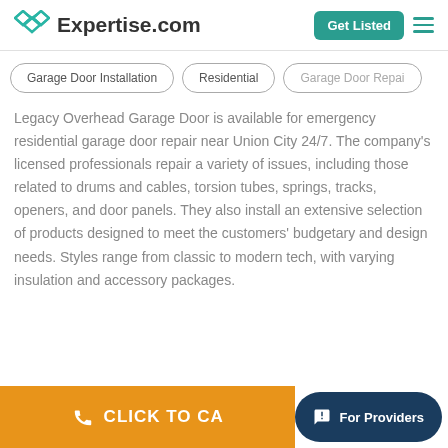Expertise.com
Garage Door Installation
Residential
Garage Door Repai...
Legacy Overhead Garage Door is available for emergency residential garage door repair near Union City 24/7. The company's licensed professionals repair a variety of issues, including those related to drums and cables, torsion tubes, springs, tracks, openers, and door panels. They also install an extensive selection of products designed to meet the customers' budgetary and design needs. Styles range from classic to modern tech, with varying insulation and accessory packages.
CLICK TO CA...
For Providers